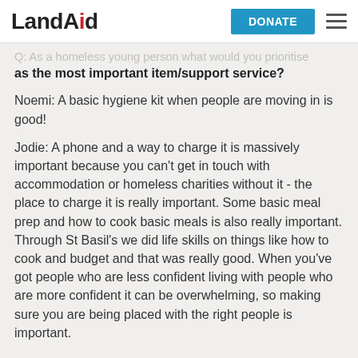LandAid | DONATE
Q: As a homeless young person what would you prioritise as the most important item/support service?
Noemi: A basic hygiene kit when people are moving in is good!
Jodie: A phone and a way to charge it is massively important because you can't get in touch with accommodation or homeless charities without it - the place to charge it is really important. Some basic meal prep and how to cook basic meals is also really important. Through St Basil's we did life skills on things like how to cook and budget and that was really good. When you've got people who are less confident living with people who are more confident it can be overwhelming, so making sure you are being placed with the right people is important.